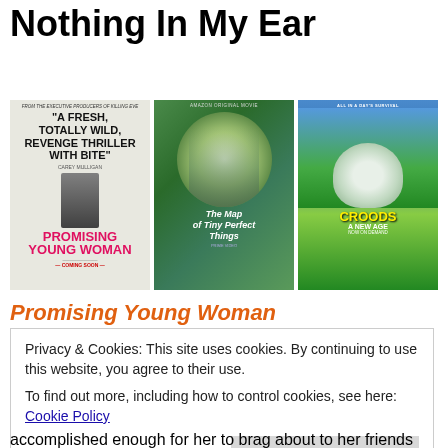Nothing In My Ear
[Figure (photo): Three movie posters side by side: Promising Young Woman, The Map of Tiny Perfect Things, and The Croods: A New Age]
Promising Young Woman
Privacy & Cookies: This site uses cookies. By continuing to use this website, you agree to their use.
To find out more, including how to control cookies, see here: Cookie Policy
Close and accept
accomplished enough for her to brag about to her friends